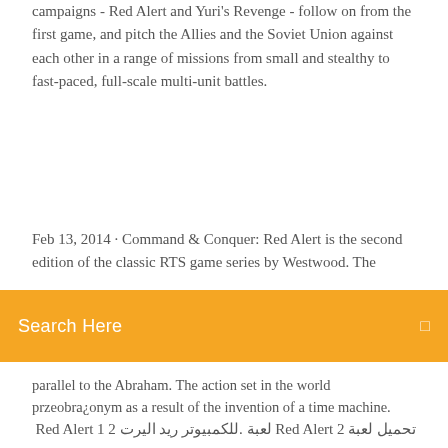campaigns - Red Alert and Yuri's Revenge - follow on from the first game, and pitch the Allies and the Soviet Union against each other in a range of missions from small and stealthy to fast-paced, full-scale multi-unit battles.
Feb 13, 2014 · Command & Conquer: Red Alert is the second edition of the classic RTS game series by Westwood. The
Search Here
parallel to the Abraham. The action set in the world przeobra¿onym as a result of the invention of a time machine. تحميل لعبة Red Alert 2 لعبة .للكمبيوتر ريد اليرت 2 Red Alert 1 ريد اليرت التي تعتبر أحد أفضل ألعاب الاستراتيجية التي تم إصدارها للكمبيوتر في عام 1996 أي قبل ظهور التقنيات الجديدة التي تستخدم في صناعة الكمبيوتر هذه التقنيات تعتبر Play Red Alert Online for Free. C&C breaks time and introduces Tesla Coils, Tanya, and time travel. There's never been a better time to play Red Alert Online. Commanders have shared! Mental Omega is a large free unofficial expansion pack for Command & Conquer